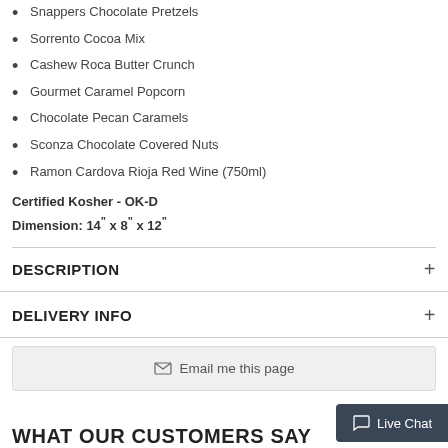Snappers Chocolate Pretzels
Sorrento Cocoa Mix
Cashew Roca Butter Crunch
Gourmet Caramel Popcorn
Chocolate Pecan Caramels
Sconza Chocolate Covered Nuts
Ramon Cardova Rioja Red Wine (750ml)
Certified Kosher - OK-D
Dimension: 14" x 8" x 12"
DESCRIPTION
DELIVERY INFO
Email me this page
WHAT OUR CUSTOMERS SAY